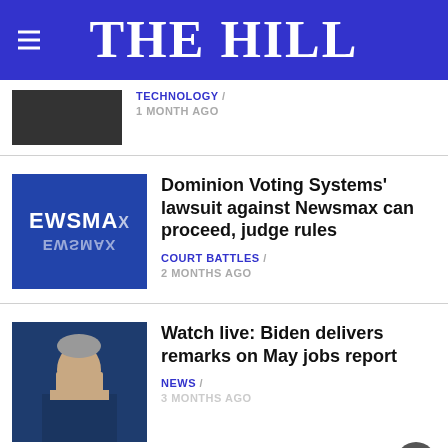THE HILL
TECHNOLOGY / 1 MONTH AGO
Dominion Voting Systems' lawsuit against Newsmax can proceed, judge rules
COURT BATTLES / 2 MONTHS AGO
Watch live: Biden delivers remarks on May jobs report
NEWS / 3 MONTHS AGO
Watch live: Biden delivers